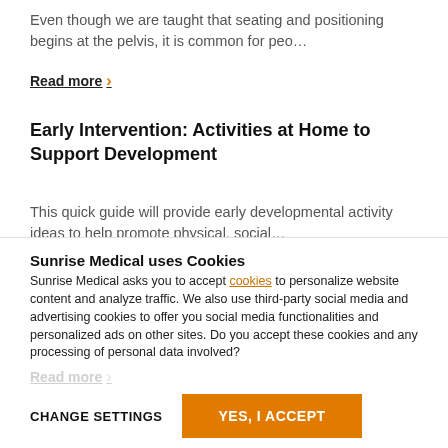Even though we are taught that seating and positioning begins at the pelvis, it is common for peo…
Read more ›
Early Intervention: Activities at Home to Support Development
This quick guide will provide early developmental activity ideas to help promote physical, social…
Read more ›
Sunrise Medical uses Cookies
Sunrise Medical asks you to accept cookies to personalize website content and analyze traffic. We also use third-party social media and advertising cookies to offer you social media functionalities and personalized ads on other sites. Do you accept these cookies and any processing of personal data involved?
Read more ›
CHANGE SETTINGS
YES, I ACCEPT